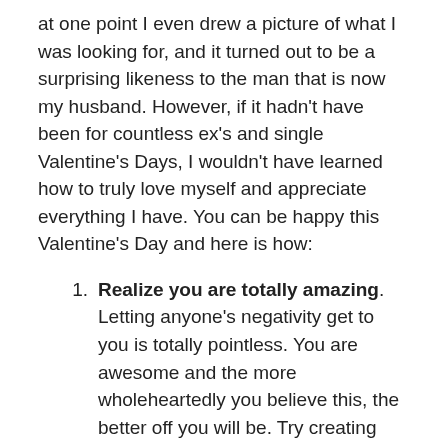at one point I even drew a picture of what I was looking for, and it turned out to be a surprising likeness to the man that is now my husband. However, if it hadn't have been for countless ex's and single Valentine's Days, I wouldn't have learned how to truly love myself and appreciate everything I have. You can be happy this Valentine's Day and here is how:
Realize you are totally amazing. Letting anyone's negativity get to you is totally pointless. You are awesome and the more wholeheartedly you believe this, the better off you will be. Try creating little reminders for yourself. For example, hang a sign or put up an index card that says, "You are Beautiful" or "You Rock!" Look in the mirror and compliment yourself on your best traits. Studies show that you can affect your body's chemistry on a molecular